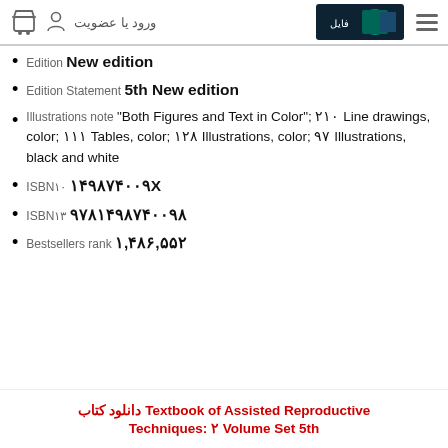ورود یا عضویت | logo | hamburger menu
Edition  New edition
Edition Statement  5th New edition
Illustrations note "Both Figures and Text in Color"; ۲۱۰ Line drawings, color; ۱۱۱ Tables, color; ۱۲۸ Illustrations, color; ۹۷ Illustrations, black and white
ISBN۱۰  ۱۴۹۸۷۴۰۰۹X
ISBN۱۳  ۹۷۸۱۴۹۸۷۴۰۰۹۸
Bestsellers rank  ۱,۴۸۶,۵۵۲
دانلود کتاب Textbook of Assisted Reproductive Techniques: ۲ Volume Set 5th